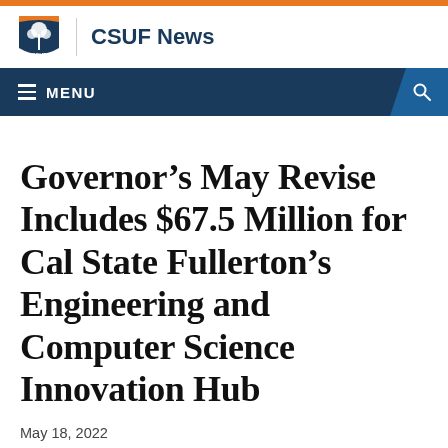CSUF News
Governor’s May Revise Includes $67.5 Million for Cal State Fullerton’s Engineering and Computer Science Innovation Hub
May 18, 2022
SHARE THIS: